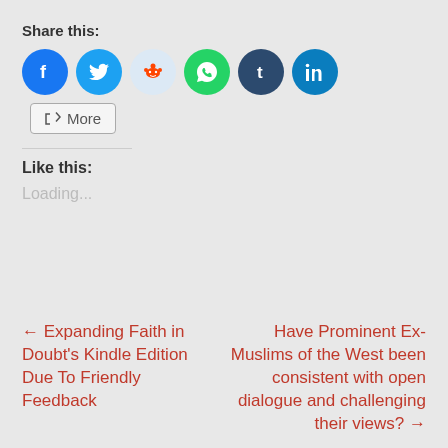Share this:
[Figure (other): Social share buttons: Facebook, Twitter, Reddit, WhatsApp, Tumblr, LinkedIn, and More]
Like this:
Loading...
← Expanding Faith in Doubt's Kindle Edition Due To Friendly Feedback
Have Prominent Ex-Muslims of the West been consistent with open dialogue and challenging their views? →